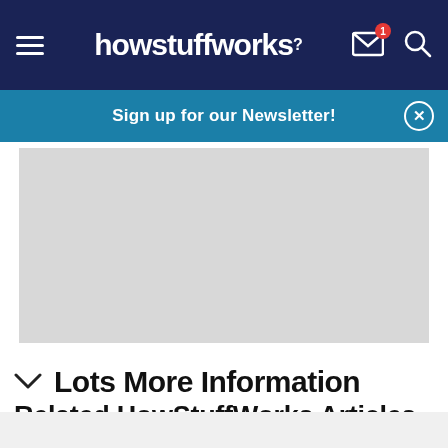howstuffworks
Sign up for our Newsletter!
[Figure (other): Gray advertisement placeholder rectangle]
Lots More Information
Related HowStuffWorks Articles